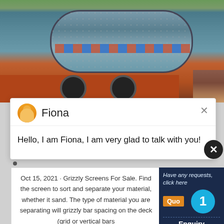[Figure (photo): Industrial ball mill cylinder on a red truck, outdoor setting]
[Figure (screenshot): Chat popup with avatar of Fiona, a customer service agent]
Fiona
Hello, I am Fiona, I am very glad to talk with you!
Oct 15, 2021 · Grizzly Screens For Sale. Find the screen to sort and separate your material, whether it sand. The type of material you are separating will grizzly bar spacing on the deck (grid or vertical bars
CHAT ONLINE
Have any requests, click here
1
Enquiry
limingjlmofen@sina.com